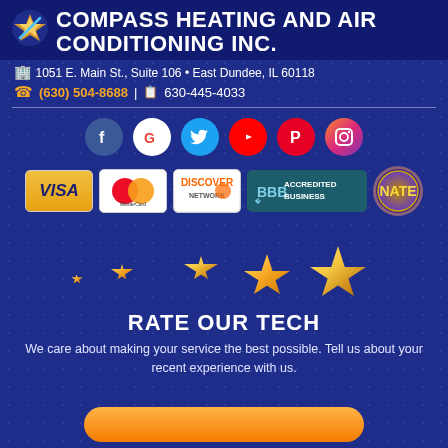COMPASS HEATING AND AIR CONDITIONING INC.
1051 E. Main St., Suite 106 • East Dundee, IL 60118
(630) 504-8688 | 630-445-4033
[Figure (infographic): Social media icons row: Facebook, Google, Twitter, YouTube, Pinterest, Instagram]
[Figure (infographic): Payment/certification badges: Visa, MasterCard, Discover Network, BBB Accredited Business, NATE certification]
[Figure (infographic): Five gold stars rating graphic]
RATE OUR TECH
We care about making your service the best possible. Tell us about your recent experience with us.